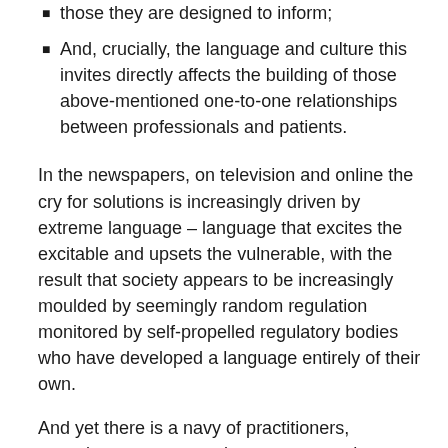those they are designed to inform;
And, crucially, the language and culture this invites directly affects the building of those above-mentioned one-to-one relationships between professionals and patients.
In the newspapers, on television and online the cry for solutions is increasingly driven by extreme language – language that excites the excitable and upsets the vulnerable, with the result that society appears to be increasingly moulded by seemingly random regulation monitored by self-propelled regulatory bodies who have developed a language entirely of their own.
And yet there is a navy of practitioners, consultants, nurses and managers out there with the knowledge, skills and attitudes to overcome this – to deal with the